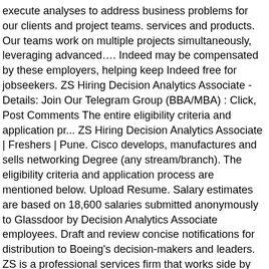execute analyses to address business problems for our clients and project teams. services and products. Our teams work on multiple projects simultaneously, leveraging advanced…. Indeed may be compensated by these employers, helping keep Indeed free for jobseekers. ZS Hiring Decision Analytics Associate - Details: Join Our Telegram Group (BBA/MBA) : Click, Post Comments The entire eligibility criteria and application pr... ZS Hiring Decision Analytics Associate | Freshers | Pune. Cisco develops, manufactures and sells networking Degree (any stream/branch). The eligibility criteria and application process are mentioned below. Upload Resume. Salary estimates are based on 18,600 salaries submitted anonymously to Glassdoor by Decision Analytics Associate employees. Draft and review concise notifications for distribution to Boeing's decision-makers and leaders. ZS is a professional services firm that works side by side with companies to help develop and deliver products that drive customer value and company results. Decision Analytics Associate… In particular, DAAs employ advanced analytic